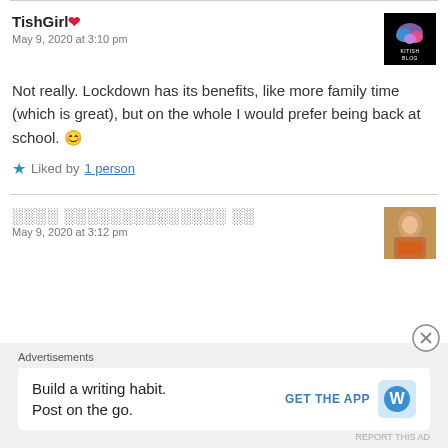TishGirl ❤
May 9, 2020 at 3:10 pm
Not really. Lockdown has its benefits, like more family time (which is great), but on the whole I would prefer being back at school. 😊
Liked by 1 person
░░░░ ░░░░░░░░░░░░░░ ░░
May 9, 2020 at 3:12 pm
Advertisements
Build a writing habit. Post on the go.
GET THE APP